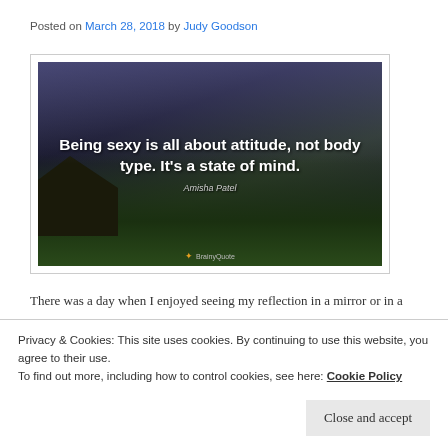Posted on March 28, 2018 by Judy Goodson
[Figure (photo): BrainyQuote image with text: 'Being sexy is all about attitude, not body type. It's a state of mind.' attributed to Amisha Patel, over a dark stormy ocean/coastal landscape background.]
There was a day when I enjoyed seeing my reflection in a mirror or in a store window.  I think this goes back to when I was 15 or 16.  I was swimming laps every day after teaching classes at the YMCA pool.  I
Privacy & Cookies: This site uses cookies. By continuing to use this website, you agree to their use.
To find out more, including how to control cookies, see here: Cookie Policy
Close and accept